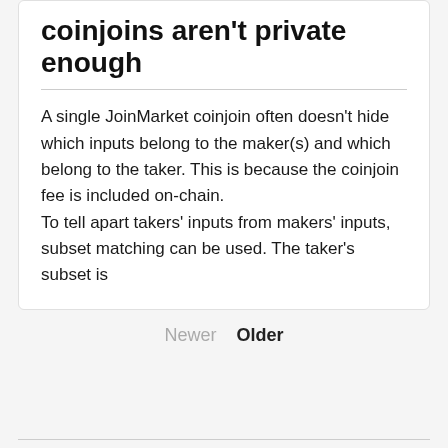coinjoins aren't private enough
A single JoinMarket coinjoin often doesn't hide which inputs belong to the maker(s) and which belong to the taker. This is because the coinjoin fee is included on-chain.
To tell apart takers' inputs from makers' inputs, subset matching can be used. The taker's subset is
Newer   Older